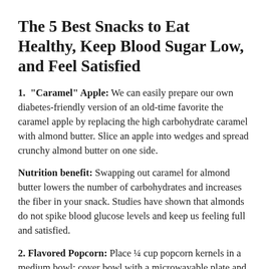The 5 Best Snacks to Eat Healthy, Keep Blood Sugar Low, and Feel Satisfied
1. "Caramel" Apple: We can easily prepare our own diabetes-friendly version of an old-time favorite the caramel apple by replacing the high carbohydrate caramel with almond butter. Slice an apple into wedges and spread crunchy almond butter on one side.
Nutrition benefit: Swapping out caramel for almond butter lowers the number of carbohydrates and increases the fiber in your snack. Studies have shown that almonds do not spike blood glucose levels and keep us feeling full and satisfied.
2. Flavored Popcorn: Place ¼ cup popcorn kernels in a medium bowl; cover bowl with a microwavable plate and microwave on high setting for 2½–3 minutes